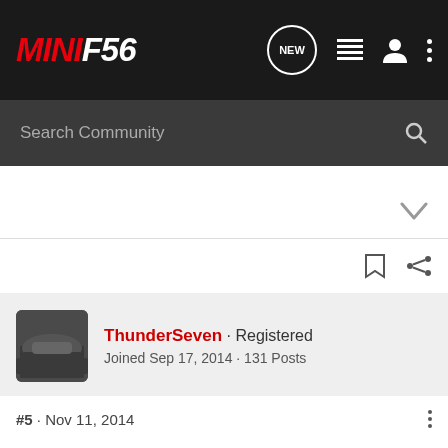MINI F56 - NEW (badge) - navigation icons
Search Community
ThunderSeven · Registered
Joined Sep 17, 2014 · 131 Posts
#5 · Nov 11, 2014
Oh.. no I don't.. I don't think it was an option when I ordered at the time. 😕